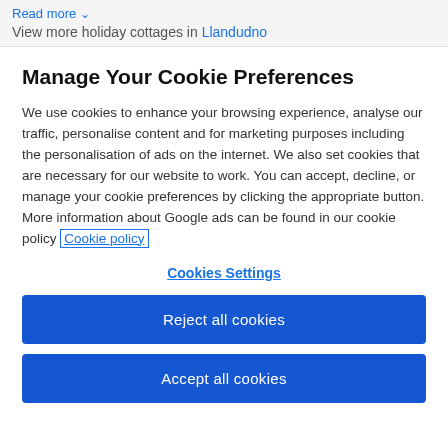Read more  View more holiday cottages in Llandudno
Manage Your Cookie Preferences
We use cookies to enhance your browsing experience, analyse our traffic, personalise content and for marketing purposes including the personalisation of ads on the internet. We also set cookies that are necessary for our website to work. You can accept, decline, or manage your cookie preferences by clicking the appropriate button. More information about Google ads can be found in our cookie policy Cookie policy
Cookies Settings
Reject all cookies
Accept all cookies